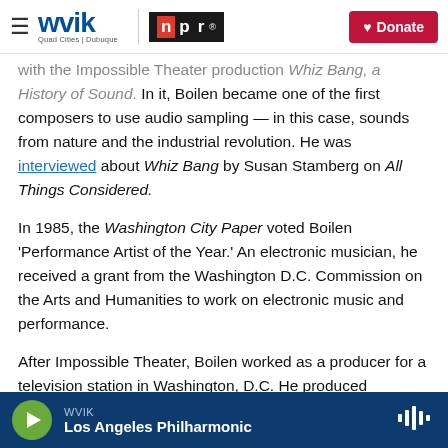WVIK | NPR | Quad Cities | Dubuque | Donate
with the Impossible Theater production Whiz Bang, a History of Sound. In it, Boilen became one of the first composers to use audio sampling — in this case, sounds from nature and the industrial revolution. He was interviewed about Whiz Bang by Susan Stamberg on All Things Considered.
In 1985, the Washington City Paper voted Boilen 'Performance Artist of the Year.' An electronic musician, he received a grant from the Washington D.C. Commission on the Arts and Humanities to work on electronic music and performance.
After Impossible Theater, Boilen worked as a producer for a television station in Washington, D.C. He produced
WVIK — Los Angeles Philharmonic